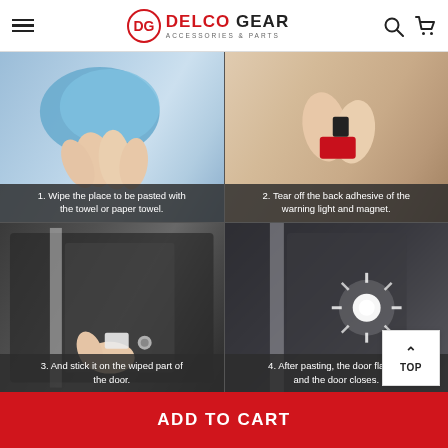DELCO GEAR - ACCESSORIES & PARTS
[Figure (photo): Four-panel instructional image grid showing steps to install car door warning light: 1. Wipe the place to be pasted with the towel or paper towel. 2. Tear off the back adhesive of the warning light and magnet. 3. And stick it on the wiped part of the door. 4. After pasting, the door flashes and the door closes.]
ADD TO CART